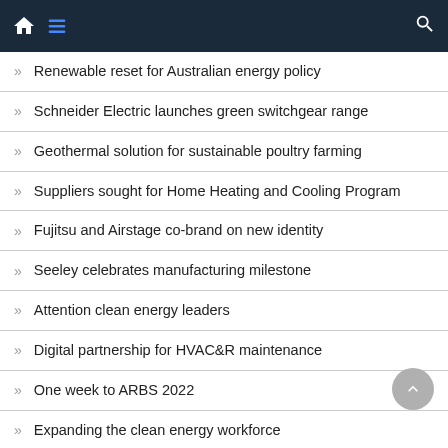Navigation bar with home, menu, and search icons
Renewable reset for Australian energy policy
Schneider Electric launches green switchgear range
Geothermal solution for sustainable poultry farming
Suppliers sought for Home Heating and Cooling Program
Fujitsu and Airstage co-brand on new identity
Seeley celebrates manufacturing milestone
Attention clean energy leaders
Digital partnership for HVAC&R maintenance
One week to ARBS 2022
Expanding the clean energy workforce